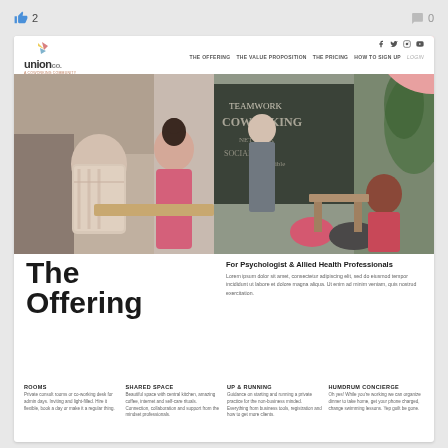👍 2   💬 0
[Figure (screenshot): Screenshot of Union Co. coworking website showing navigation bar with logo, social icons, and nav links (THE OFFERING, THE VALUE PROPOSITION, THE PRICING, HOW TO SIGN UP, LOGIN), a large hero photo of people working in a coworking space, and below: 'The Offering' heading on the left, 'For Psychologist & Allied Health Professionals' with lorem ipsum text on the right, and a grid of service categories: ROOMS, SHARED SPACE, UP & RUNNING, HUMDRUM CONCIERGE (each with descriptive text), and second row: ADMIN SUPPORT, CHILDCARE, TESTS & RESOURCES, PD NETWORK & EVENTS]
The Offering
For Psychologist & Allied Health Professionals
Lorem ipsum dolor sit amet, consectetur adipiscing elit, sed do eiusmod tempor incididunt ut labore et dolore magna aliqua. Ut enim ad minim veniam, quis nostrud exercitation.
ROOMS
Private consult rooms or co-working desk for admin days. Inviting and light-filled. Hire it flexible, book a day or make it a regular thing.
SHARED SPACE
Beautiful space with central kitchen, amazing coffee, internet and self-care rituals. Connection, collaboration and support from the mindset professionals.
UP & RUNNING
Guidance on starting and running a private practice for the non-business minded. Everything from business tools, registration and how to get more clients.
HUMDRUM CONCIERGE
Oh yes! While you're working we can organize dinner to take home, get your phone charged, change swimming lessons. Yep that's for you.
ADMIN SUPPORT
CHILDCARE
TESTS & RESOURCES
PD NETWORK & EVENTS